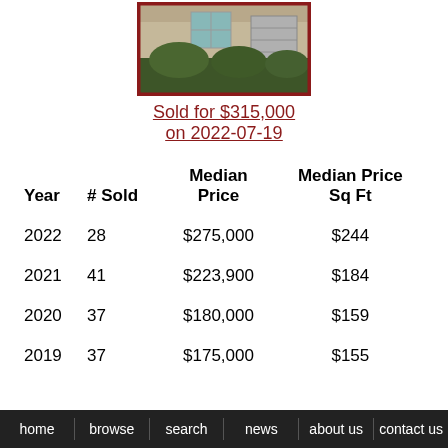[Figure (photo): Exterior photo of a residential house with beige/tan walls, shrubs in front, and a garage door, bordered by a dark red frame.]
Sold for $315,000
on 2022-07-19
| Year | # Sold | Median Price | Median Price Sq Ft |
| --- | --- | --- | --- |
| 2022 | 28 | $275,000 | $244 |
| 2021 | 41 | $223,900 | $184 |
| 2020 | 37 | $180,000 | $159 |
| 2019 | 37 | $175,000 | $155 |
home  browse  search  news  about us  contact us